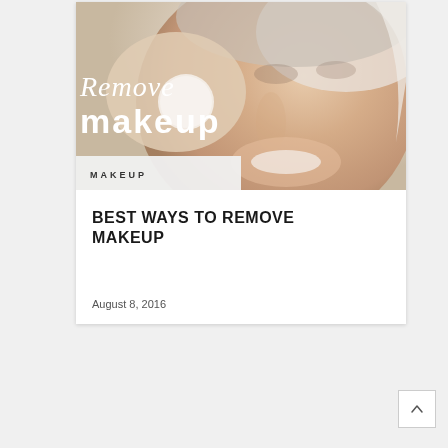[Figure (photo): Woman removing makeup with a cotton pad, wearing a white towel on her head, smiling. Overlay text reads 'Remove Makeup' in stylized white lettering.]
MAKEUP
BEST WAYS TO REMOVE MAKEUP
August 8, 2016